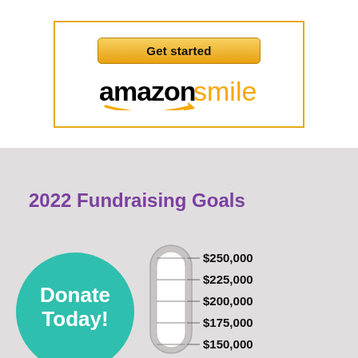[Figure (logo): Amazon Smile logo with 'Get started' button inside a yellow-bordered box]
2022 Fundraising Goals
[Figure (infographic): Fundraising thermometer showing goal levels from $150,000 to $250,000, with a teal 'Donate Today!' circle button on the left]